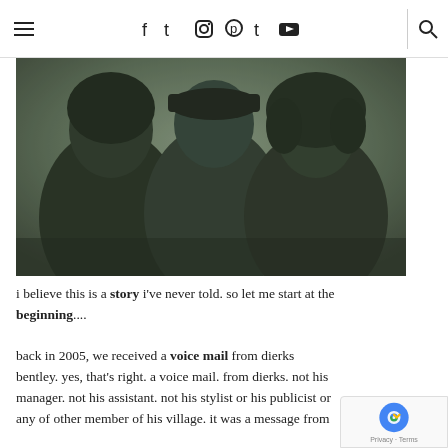≡  f  t  ☖  ⊕  t  ▶  |  🔍
[Figure (photo): Black and white sepia-toned photo of three people smiling — a woman on the left with dark hair and a cross necklace, a man in the center wearing a plaid shirt and backwards cap, and a woman on the right with curly hair and a denim jacket.]
i believe this is a story i've never told. so let me start at the beginning....
back in 2005, we received a voice mail from dierks bentley. yes, that's right. a voice mail. from dierks. not his manager. not his assistant. not his stylist or his publicist or any of other member of his village. it was a message from